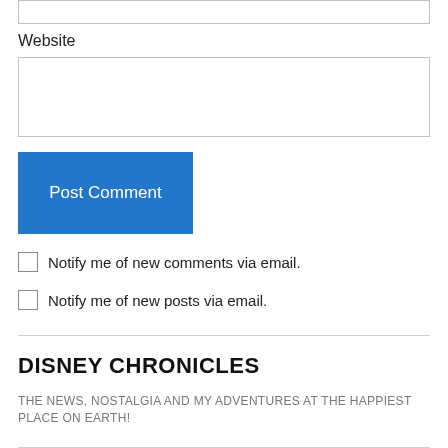Website
Post Comment
Notify me of new comments via email.
Notify me of new posts via email.
DISNEY CHRONICLES
THE NEWS, NOSTALGIA AND MY ADVENTURES AT THE HAPPIEST PLACE ON EARTH!